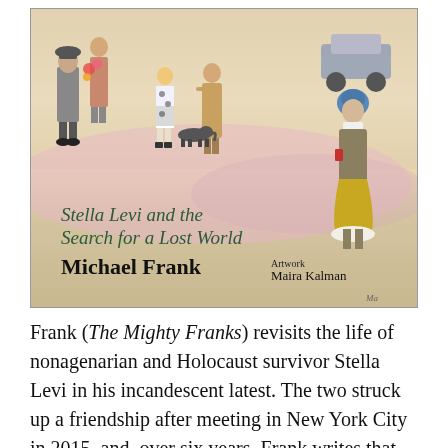[Figure (illustration): Book cover illustration showing figures in a colorful street scene. Title reads 'Stella Levi and the Search for a Lost World'. Author: Michael Frank, Artwork by Maira Kalman.]
Frank (The Mighty Franks) revisits the life of nonagenarian and Holocaust survivor Stella Levi in his incandescent latest. The two struck up a friendship after meeting in New York City in 2015, and, over six years, Frank writes that Levi became to him [redacted] travel [redacted] the